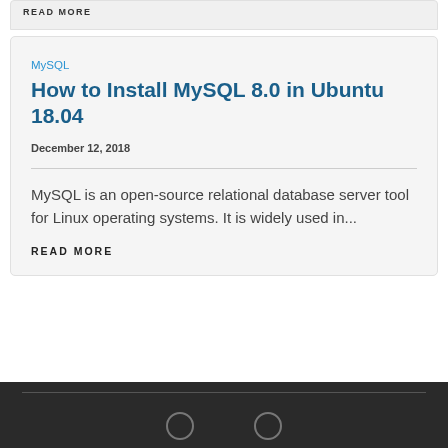READ MORE
MySQL
How to Install MySQL 8.0 in Ubuntu 18.04
December 12, 2018
MySQL is an open-source relational database server tool for Linux operating systems. It is widely used in...
READ MORE